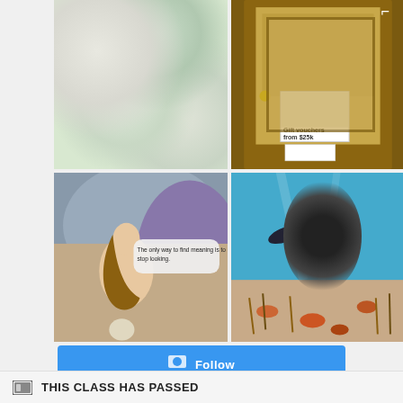[Figure (photo): Instagram feed grid showing four photos: top-left shows candles and green ferns on white background with a hand, top-right shows a wooden door with gift voucher signage, bottom-left shows a classical painting overlay with text bubble 'The only way to find meaning is to stop looking.' credited to textsfromyourexisten, bottom-right shows an underwater scuba diver with crabs on sandy seabed]
[Figure (screenshot): A blue Follow button partially visible]
THIS CLASS HAS PASSED